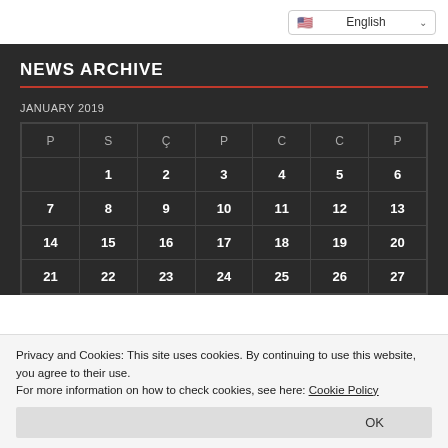English (language selector)
NEWS ARCHIVE
JANUARY 2019
| P | S | Ç | P | C | C | P |
| --- | --- | --- | --- | --- | --- | --- |
|  | 1 | 2 | 3 | 4 | 5 | 6 |
| 7 | 8 | 9 | 10 | 11 | 12 | 13 |
| 14 | 15 | 16 | 17 | 18 | 19 | 20 |
| 21 | 22 | 23 | 24 | 25 | 26 | 27 |
Privacy and Cookies: This site uses cookies. By continuing to use this website, you agree to their use.
For more information on how to check cookies, see here: Cookie Policy
OK
SUBSCRIBE